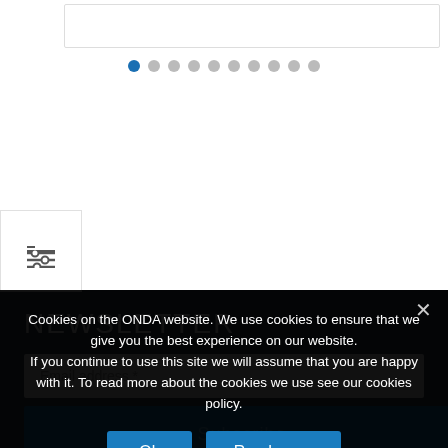[Figure (screenshot): White card/box element at top of page]
[Figure (other): Pagination dots row: 10 dots, first dot is active/blue, rest are grey]
[Figure (other): Filter/settings icon button (three horizontal lines with handles) on left side]
NEWSLETTER
[Figure (other): Email address input field with placeholder text 'Email address *']
[Figure (other): Subscribe button in blue]
Cookies on the ONDA website. We use cookies to ensure that we give you the best experience on our website.
If you continue to use this site we will assume that you are happy with it. To read more about the cookies we use see our cookies policy.
[Figure (other): Ok button and Read more button in cookie banner]